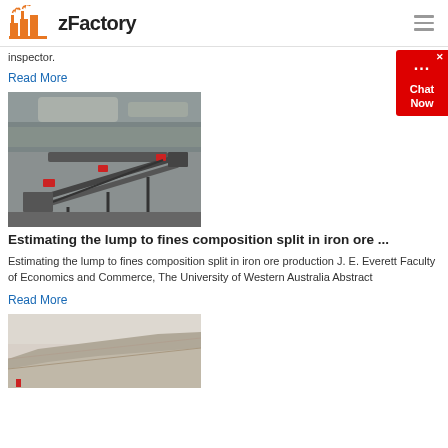zFactory
inspector.
Read More
[Figure (photo): Industrial iron ore crushing and conveyor equipment on a rocky hillside]
Estimating the lump to fines composition split in iron ore ...
Estimating the lump to fines composition split in iron ore production J. E. Everett Faculty of Economics and Commerce, The University of Western Australia Abstract
Read More
[Figure (photo): An open-cut mining site showing terraced hillside with reddish/gray rock]
[Figure (other): Chat Now widget in red box on right side]